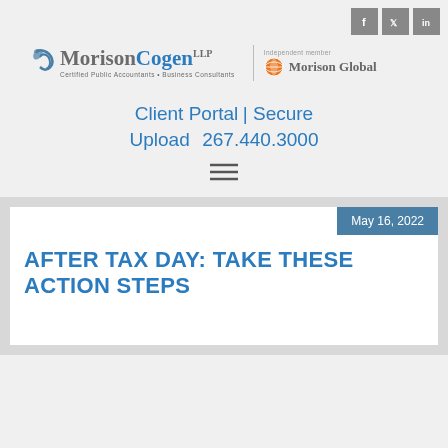[Figure (logo): Social media icons: Facebook, Twitter, LinkedIn in grey square buttons]
[Figure (logo): MorisonCogen LLP logo with Certified Public Accountants · Business Consultants tagline and Morison Global independent member badge]
Client Portal | Secure Upload  267.440.3000
[Figure (other): Hamburger menu icon (three horizontal lines)]
May 16, 2022
AFTER TAX DAY: TAKE THESE ACTION STEPS